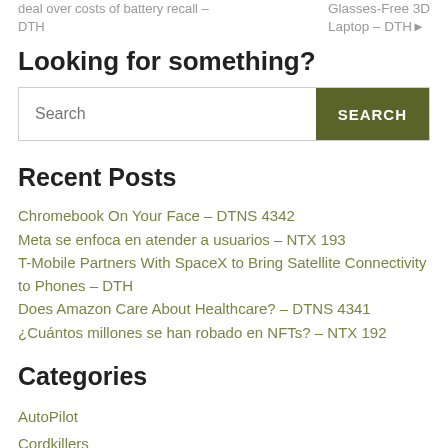deal over costs of battery recall – DTH
Glasses-Free 3D Laptop – DTH
Looking for something?
Search [SEARCH button]
Recent Posts
Chromebook On Your Face – DTNS 4342
Meta se enfoca en atender a usuarios – NTX 193
T-Mobile Partners With SpaceX to Bring Satellite Connectivity to Phones – DTH
Does Amazon Care About Healthcare? – DTNS 4341
¿Cuántos millones se han robado en NFTs? – NTX 192
Categories
AutoPilot
Cordkillers